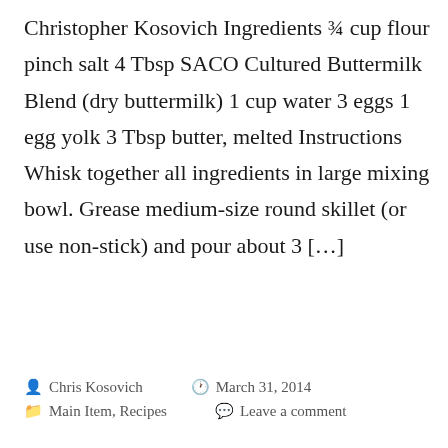Christopher Kosovich Ingredients ¾ cup flour pinch salt 4 Tbsp SACO Cultured Buttermilk Blend (dry buttermilk) 1 cup water 3 eggs 1 egg yolk 3 Tbsp butter, melted Instructions Whisk together all ingredients in large mixing bowl. Grease medium-size round skillet (or use non-stick) and pour about 3 […]
Chris Kosovich   March 31, 2014   Main Item, Recipes   Leave a comment